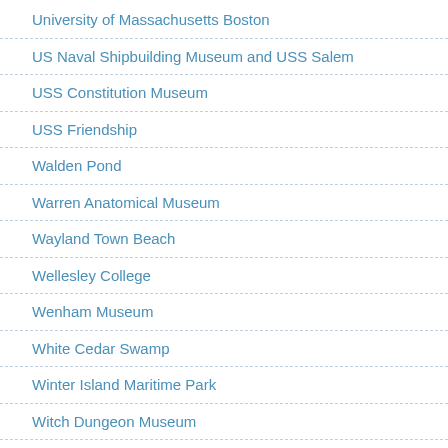University of Massachusetts Boston
US Naval Shipbuilding Museum and USS Salem
USS Constitution Museum
USS Friendship
Walden Pond
Warren Anatomical Museum
Wayland Town Beach
Wellesley College
Wenham Museum
White Cedar Swamp
Winter Island Maritime Park
Witch Dungeon Museum